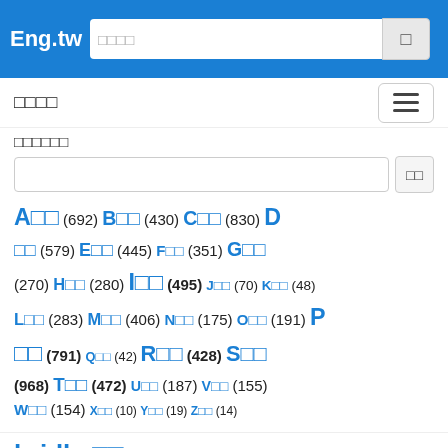Eng.tw
□□□□
□□□□□
□□□□□□
A□□ (692) B□□ (430) C□□ (830) D□□ (579) E□□ (445) F□□ (351) G□□ (270) H□□ (280) I□□ (495) J□□ (70) K□□ (48) L□□ (283) M□□ (406) N□□ (175) O□□ (191) P□□ (791) Q□□ (42) R□□ (428) S□□ (968) T□□ (472) U□□ (187) V□□ (155) W□□ (154) X□□ (10) Y□□ (19) Z□□ (14)
bridle □□